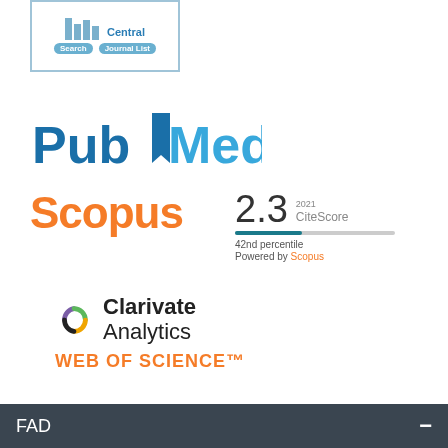[Figure (logo): PubMed Central Search and Journal List logo — columns icon with Search and Journal List buttons]
[Figure (logo): PubMed logo in blue teal colors with bookmark icon]
[Figure (logo): Scopus logo in orange with CiteScore 2.3 (2021), 42nd percentile, Powered by Scopus]
[Figure (logo): Clarivate Analytics logo with Web of Science trademark text in orange]
FAD